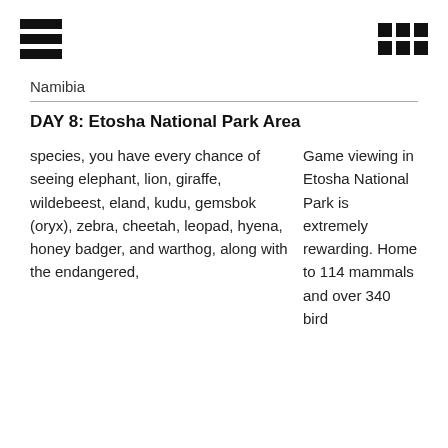Namibia
DAY 8: Etosha National Park Area
Game viewing in Etosha National Park is extremely rewarding. Home to 114 mammals and over 340 bird species, you have every chance of seeing elephant, lion, giraffe, wildebeest, eland, kudu, gemsbok (oryx), zebra, cheetah, leopard, hyena, honey badger, and warthog, along with the endangered,